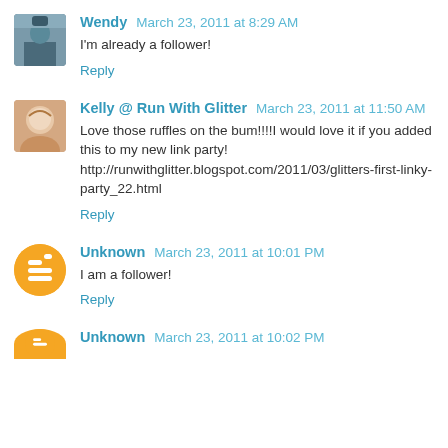Wendy March 23, 2011 at 8:29 AM
I'm already a follower!
Reply
Kelly @ Run With Glitter March 23, 2011 at 11:50 AM
Love those ruffles on the bum!!!!I would love it if you added this to my new link party! http://runwithglitter.blogspot.com/2011/03/glitters-first-linky-party_22.html
Reply
Unknown March 23, 2011 at 10:01 PM
I am a follower!
Reply
Unknown March 23, 2011 at 10:02 PM